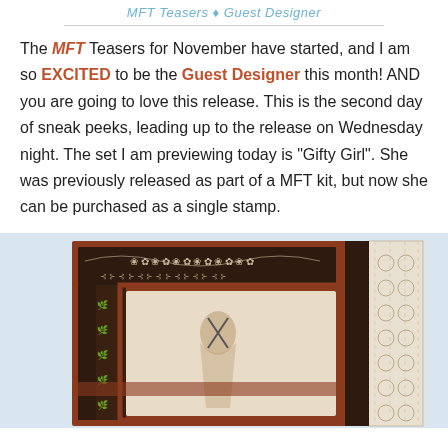MFT Teasers - Guest Designer
The MFT Teasers for November have started, and I am so EXCITED to be the Guest Designer this month! AND you are going to love this release. This is the second day of sneak peeks, leading up to the release on Wednesday night. The set I am previewing today is "Gifty Girl". She was previously released as part of a MFT kit, but now she can be purchased as a single stamp.
[Figure (photo): A handmade greeting card featuring the 'Gifty Girl' stamp image, with brown and rust/terracotta patterned paper layers, a floral/vine dark brown patterned border, cream background with a girl holding scissors/craft tools, and white lace trim on the right side.]